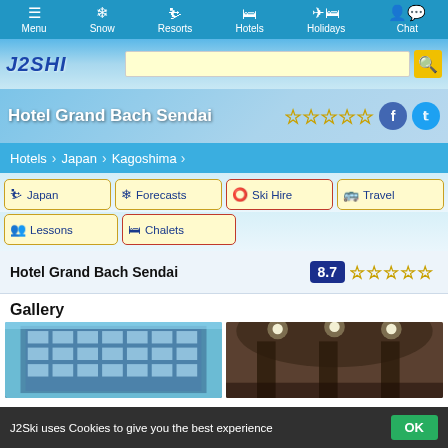Menu | Snow | Resorts | Hotels | Holidays | Chat
[Figure (screenshot): J2Ski logo and search bar with mountain background]
Hotel Grand Bach Sendai ☆☆☆☆☆
Hotels > Japan > Kagoshima
Japan
Forecasts
Ski Hire
Travel
Lessons
Chalets
Hotel Grand Bach Sendai  8.7 ☆☆☆☆☆
Gallery
[Figure (photo): Two hotel photos: exterior building and interior lobby]
J2Ski uses Cookies to give you the best experience  OK